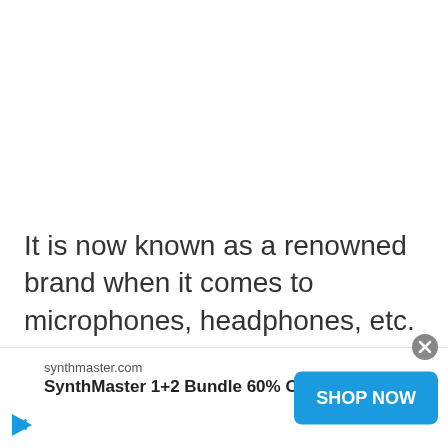It is now known as a renowned brand when it comes to microphones, headphones, etc.
[Figure (other): Advertisement banner for SynthMaster 1+2 Bundle 60% Off from synthmaster.com with a blue SHOP NOW button and close button]